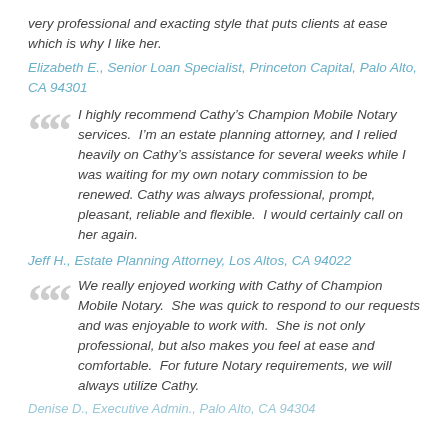very professional and exacting style that puts clients at ease which is why I like her.
Elizabeth E., Senior Loan Specialist, Princeton Capital, Palo Alto, CA 94301
I highly recommend Cathy’s Champion Mobile Notary services.  I’m an estate planning attorney, and I relied heavily on Cathy’s assistance for several weeks while I was waiting for my own notary commission to be renewed. Cathy was always professional, prompt, pleasant, reliable and flexible.  I would certainly call on her again.
Jeff H., Estate Planning Attorney, Los Altos, CA 94022
We really enjoyed working with Cathy of Champion Mobile Notary.  She was quick to respond to our requests and was enjoyable to work with.  She is not only professional, but also makes you feel at ease and comfortable.  For future Notary requirements, we will always utilize Cathy.
Denise D., Executive Admin., Palo Alto, CA 94304